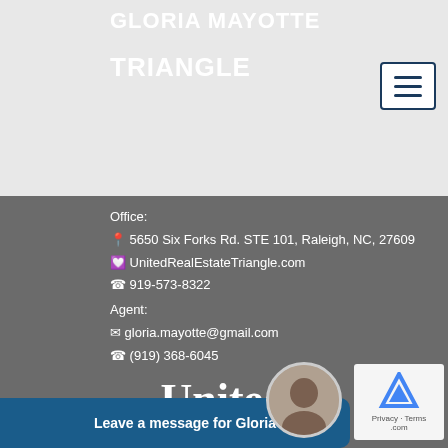GLORIA MAYOTTE
TRIANGLE
Office:
5650 Six Forks Rd. STE 101, Raleigh, NC, 27609
UnitedRealEstateTriangle.com
919-573-8322
Agent:
gloria.mayotte@gmail.com
(919) 368-6045
[Figure (logo): United Real Estate logo in white text with swoosh underline]
Leave a message for Gloria